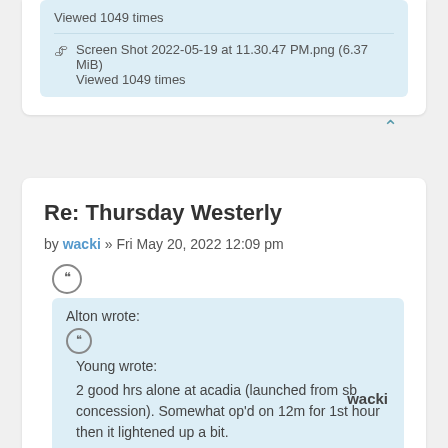Viewed 1049 times
Screen Shot 2022-05-19 at 11.30.47 PM.png (6.37 MiB)
Viewed 1049 times
Re: Thursday Westerly
by wacki » Fri May 20, 2022 12:09 pm
wacki
Alton wrote:
Young wrote:
2 good hrs alone at acadia (launched from sb concession). Somewhat op'd on 12m for 1st hour then it lightened up a bit.